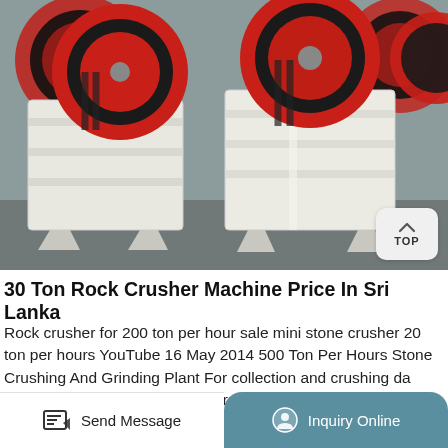[Figure (photo): Industrial jaw crusher machines in white/cream color with large red and black flywheels, photographed in a factory/warehouse setting. Two units visible side by side.]
30 Ton Rock Crusher Machine Price In Sri Lanka
Rock crusher for 200 ton per hour sale mini stone crusher 20 ton per hours YouTube 16 May 2014 500 Ton Per Hours Stone Crushing And Grinding Plant For collection and crushing da stone sri lanka Collection And Crushing Da Stone Sri Lanka.
Send Message
Inquiry Online